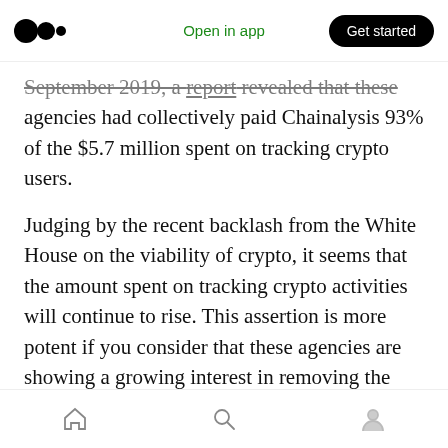Medium logo | Open in app | Get started
September 2019, a report revealed that these agencies had collectively paid Chainalysis 93% of the $5.7 million spent on tracking crypto users.
Judging by the recent backlash from the White House on the viability of crypto, it seems that the amount spent on tracking crypto activities will continue to rise. This assertion is more potent if you consider that these agencies are showing a growing interest in removing the anonymity that privacy-focused blockchains avail.
However, as noted by Tyson Cross, a tax attorney
Home | Search | Profile